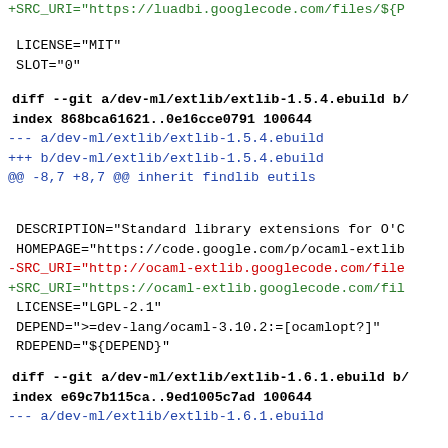+SRC_URI="https://luadbi.googlecode.com/files/${P
LICENSE="MIT"
 SLOT="0"
diff --git a/dev-ml/extlib/extlib-1.5.4.ebuild b/
index 868bca61621..0e16cce0791 100644
--- a/dev-ml/extlib/extlib-1.5.4.ebuild
+++ b/dev-ml/extlib/extlib-1.5.4.ebuild
@@ -8,7 +8,7 @@ inherit findlib eutils
DESCRIPTION="Standard library extensions for O'C
 HOMEPAGE="https://code.google.com/p/ocaml-extlib
-SRC_URI="http://ocaml-extlib.googlecode.com/file
+SRC_URI="https://ocaml-extlib.googlecode.com/fil
 LICENSE="LGPL-2.1"
 DEPEND=">=dev-lang/ocaml-3.10.2:=[ocamlopt?]"
 RDEPEND="${DEPEND}"
diff --git a/dev-ml/extlib/extlib-1.6.1.ebuild b/
index e69c7b115ca..9ed1005c7ad 100644
--- a/dev-ml/extlib/extlib-1.6.1.ebuild